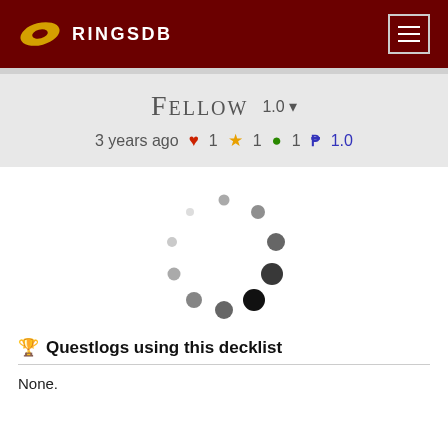RINGSDB
FELLOW  1.0
3 years ago ♥1 ★1 💬1 ₱1.0
[Figure (other): Loading spinner animation — circular arrangement of dots of varying sizes]
🏆 Questlogs using this decklist
None.